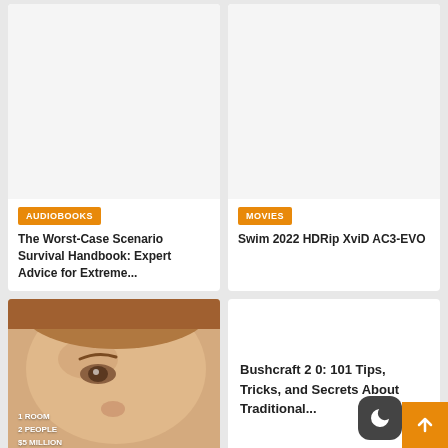[Figure (other): Book cover placeholder image for audiobook card - blank white/light gray area]
AUDIOBOOKS
The Worst-Case Scenario Survival Handbook: Expert Advice for Extreme...
[Figure (other): Movie cover placeholder image - blank white/light gray area]
MOVIES
Swim 2022 HDRip XviD AC3-EVO
[Figure (photo): Close-up photo of a person's face looking upward, with text overlay: 1 ROOM, 2 PEOPLE, $5 MILLION]
Bushcraft 2 0: 101 Tips, Tricks, and Secrets About Traditional...